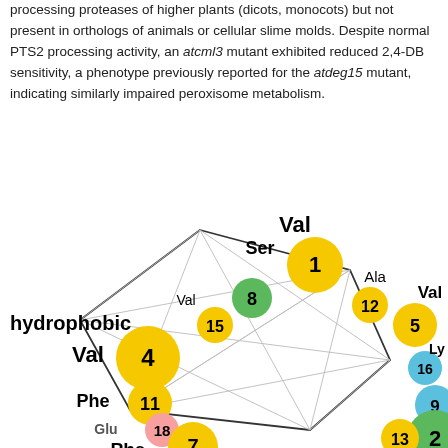processing proteases of higher plants (dicots, monocots) but not present in orthologs of animals or cellular slime molds. Despite normal PTS2 processing activity, an atcml3 mutant exhibited reduced 2,4-DB sensitivity, a phenotype previously reported for the atdeg15 mutant, indicating similarly impaired peroxisome metabolism.
[Figure (network-graph): Network graph showing amino acid residue nodes (numbered circles colored yellow, green, blue, pink) connected by lines. Nodes labeled with amino acid names: Val, Ser, Ala, Phe, Glu, Lys. Numbers visible include 1, 2, 4, 5, 7, 8, 9, 11, 12, 13, 15, 16, 18. Category label 'hydrophobic' shown at left.]